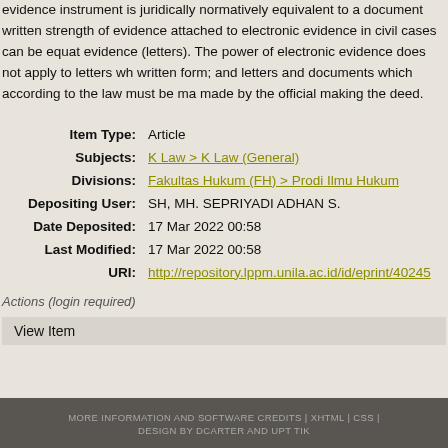evidence instrument is juridically normatively equivalent to a document written ... strength of evidence attached to electronic evidence in civil cases can be equal ... evidence (letters). The power of electronic evidence does not apply to letters wh... written form; and letters and documents which according to the law must be ma... made by the official making the deed.
| Label | Value |
| --- | --- |
| Item Type: | Article |
| Subjects: | K Law > K Law (General) |
| Divisions: | Fakultas Hukum (FH) > Prodi Ilmu Hukum |
| Depositing User: | SH, MH. SEPRIYADI ADHAN S. |
| Date Deposited: | 17 Mar 2022 00:58 |
| Last Modified: | 17 Mar 2022 00:58 |
| URI: | http://repository.lppm.unila.ac.id/id/eprint/40245 |
Actions (login required)
View Item
MORE INFORMATION AND SOFTWARE CREDITS | XHTML | CSS | DESIGN BY DCARTER AND UPT TIK